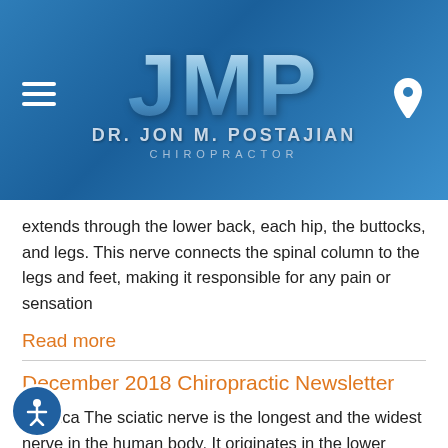[Figure (logo): JMP Dr. Jon M. Postajian Chiropractor logo on blue gradient background with hamburger menu icon and location pin icon]
extends through the lower back, each hip, the buttocks, and legs. This nerve connects the spinal column to the legs and feet, making it responsible for any pain or sensation
Read more
December 2018 Chiropractic Newsletter
Sciatica The sciatic nerve is the longest and the widest nerve in the human body. It originates in the lower spinal cord, and extends through the lower back, each hip, the buttocks and legs. This nerve connects the spinal column to the legs and feet, making it responsible for any pain or sensation to